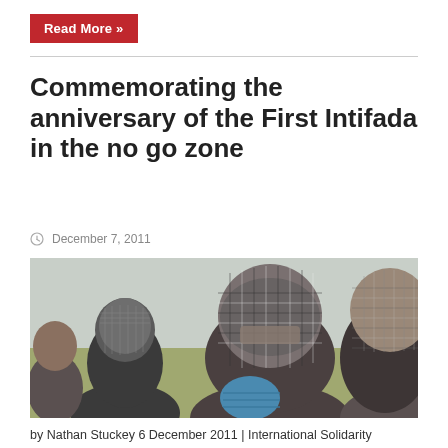Read More »
Commemorating the anniversary of the First Intifada in the no go zone
December 7, 2011
[Figure (photo): Several people with faces covered in keffiyeh scarves, photographed outdoors in a news/documentary style.]
by Nathan Stuckey 6 December 2011 | International Solidarity Movement, Gaza Twenty four years ago,